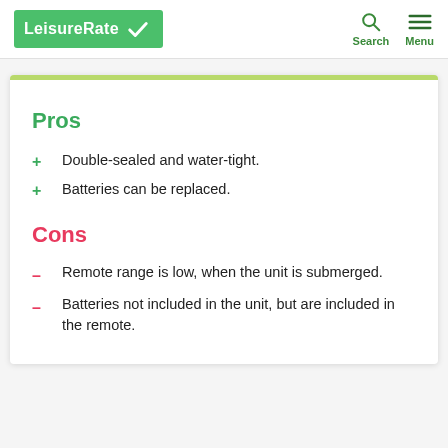LeisureRate | Search | Menu
Pros
Double-sealed and water-tight.
Batteries can be replaced.
Cons
Remote range is low, when the unit is submerged.
Batteries not included in the unit, but are included in the remote.